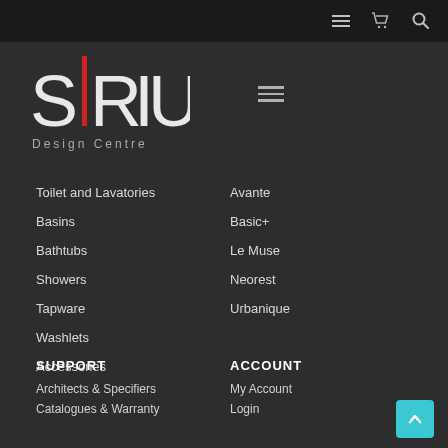Navigation bar with hamburger menu, cart icon, and search icon
[Figure (logo): SIRIUS Design Centre logo in white with red vertical bar accent]
Toilet and Lavatories
Basins
Bathtubs
Showers
Tapware
Washlets
Accessories
Avante
Basic+
Le Muse
Neorest
Urbanique
SUPPORT
ACCOUNT
Architects & Specifiers
Catalogues & Warranty
My Account
Login